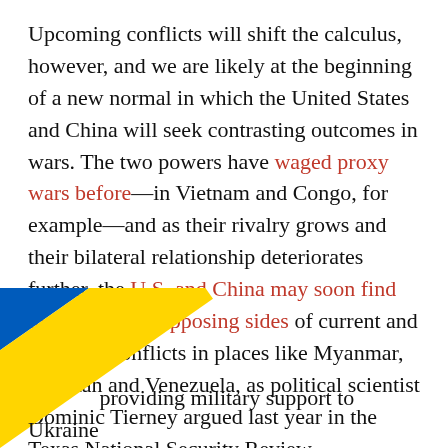Upcoming conflicts will shift the calculus, however, and we are likely at the beginning of a new normal in which the United States and China will seek contrasting outcomes in wars. The two powers have waged proxy wars before—in Vietnam and Congo, for example—and as their rivalry grows and their bilateral relationship deteriorates further, the U.S. and China may soon find themselves on opposing sides of current and potential conflicts in places like Myanmar, Pakistan and Venezuela, as political scientist Dominic Tierney argued last year in the Texas National Security Review.
[Figure (illustration): Ukrainian flag diagonal stripe overlay in bottom-left corner, blue on top and yellow on bottom, rotated approximately -35 degrees]
... providing military support to Ukraine